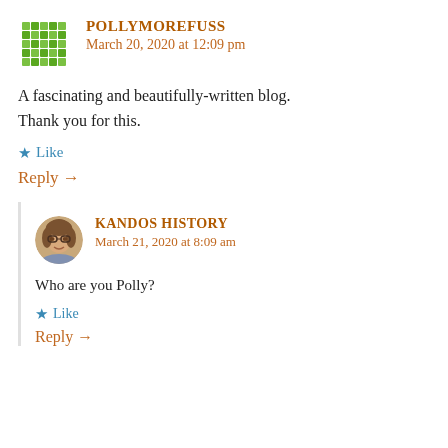POLLYMOREFUSS
March 20, 2020 at 12:09 pm
A fascinating and beautifully-written blog. Thank you for this.
★ Like
Reply →
KANDOS HISTORY
March 21, 2020 at 8:09 am
Who are you Polly?
★ Like
Reply →